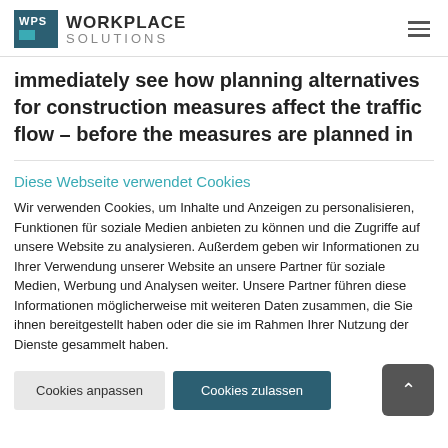WPS WORKPLACE SOLUTIONS
immediately see how planning alternatives for construction measures affect the traffic flow – before the measures are planned in
Diese Webseite verwendet Cookies
Wir verwenden Cookies, um Inhalte und Anzeigen zu personalisieren, Funktionen für soziale Medien anbieten zu können und die Zugriffe auf unsere Website zu analysieren. Außerdem geben wir Informationen zu Ihrer Verwendung unserer Website an unsere Partner für soziale Medien, Werbung und Analysen weiter. Unsere Partner führen diese Informationen möglicherweise mit weiteren Daten zusammen, die Sie ihnen bereitgestellt haben oder die sie im Rahmen Ihrer Nutzung der Dienste gesammelt haben.
Cookies anpassen | Cookies zulassen